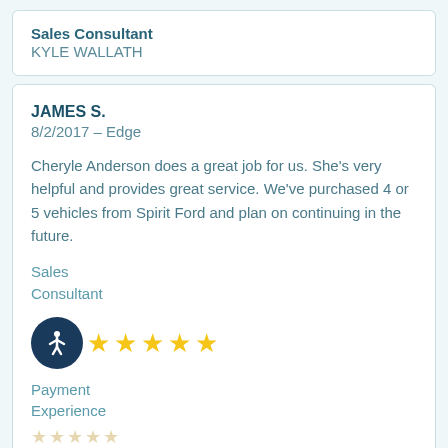Sales Consultant
KYLE WALLATH
JAMES S.
8/2/2017 - Edge
Cheryle Anderson does a great job for us. She's very helpful and provides great service. We've purchased 4 or 5 vehicles from Spirit Ford and plan on continuing in the future.
Sales
Consultant
[Figure (other): 5 yellow star rating icons]
Payment
Experience
[Figure (other): 5 outline/faint star rating icons at bottom]